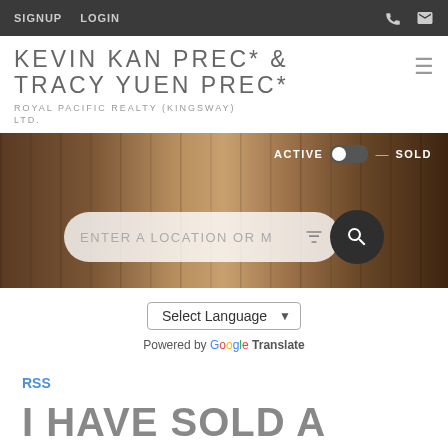SIGNUP   LOGIN
KEVIN KAN PREC* & TRACY YUEN PREC*
ROYAL PACIFIC REALTY (KINGSWAY) LTD.
[Figure (screenshot): Hero background photo of wooden door/wall panels with a search bar overlay. Toggle showing ACTIVE and SOLD. Search bar with placeholder 'ENTER A LOCATION OR M' and a dark circular search button.]
Select Language
Powered by Google Translate
RSS
I HAVE SOLD A